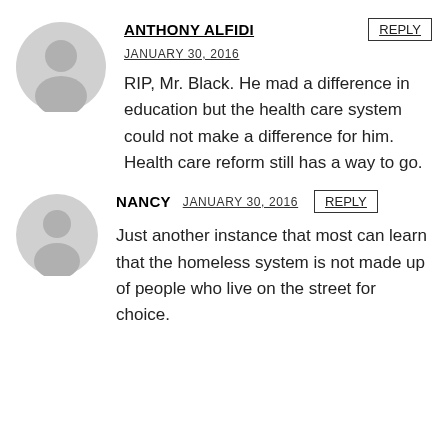[Figure (illustration): Gray placeholder avatar silhouette for Anthony Alfidi]
ANTHONY ALFIDI
JANUARY 30, 2016
RIP, Mr. Black. He mad a difference in education but the health care system could not make a difference for him. Health care reform still has a way to go.
[Figure (illustration): Gray placeholder avatar silhouette for Nancy]
NANCY
JANUARY 30, 2016
Just another instance that most can learn that the homeless system is not made up of people who live on the street for choice.